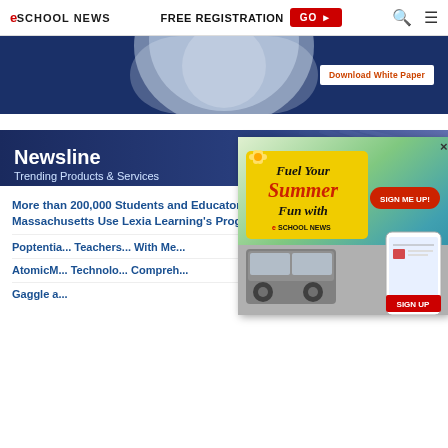eSchool News | FREE REGISTRATION GO
[Figure (photo): Advertisement banner with dark blue background showing a person holding a tablet, with a 'Download White Paper' button]
[Figure (infographic): Newsline - Trending Products & Services banner with dark blue gradient background]
More than 200,000 Students and Educators Across the Commonwealth of Massachusetts Use Lexia Learning's Programs to Boost Literacy Rates
Poptential... Teachers... With Me...
AtomicM... Technolo... Compreh...
Gaggle a...
[Figure (infographic): Popup advertisement: Fuel Your Summer Fun with eSchool News - SIGN ME UP button, showing a van and phone graphic with SIGN UP button]